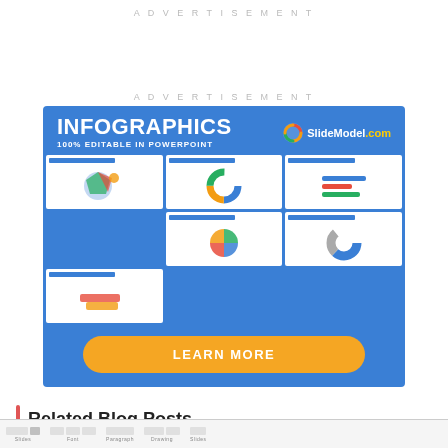ADVERTISEMENT
ADVERTISEMENT
[Figure (infographic): SlideModel.com advertisement banner for infographics templates, 100% editable in PowerPoint, showing multiple slide thumbnails with diagrams and a Learn More button]
Related Blog Posts
[Figure (screenshot): Partial screenshot of a toolbar interface at the bottom of the page]